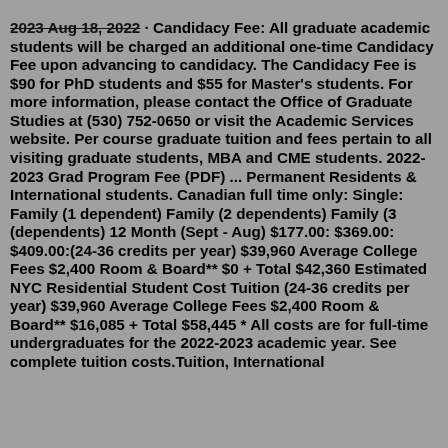2023 Aug 18, 2022 · Candidacy Fee: All graduate academic students will be charged an additional one-time Candidacy Fee upon advancing to candidacy. The Candidacy Fee is $90 for PhD students and $55 for Master's students. For more information, please contact the Office of Graduate Studies at (530) 752-0650 or visit the Academic Services website. Per course graduate tuition and fees pertain to all visiting graduate students, MBA and CME students. 2022-2023 Grad Program Fee (PDF) ... Permanent Residents & International students. Canadian full time only: Single: Family (1 dependent) Family (2 dependents) Family (3 (dependents) 12 Month (Sept - Aug) $177.00: $369.00: $409.00:(24-36 credits per year) $39,960 Average College Fees $2,400 Room & Board** $0 + Total $42,360 Estimated NYC Residential Student Cost Tuition (24-36 credits per year) $39,960 Average College Fees $2,400 Room & Board** $16,085 + Total $58,445 * All costs are for full-time undergraduates for the 2022-2023 academic year. See complete tuition costs.Tuition, International